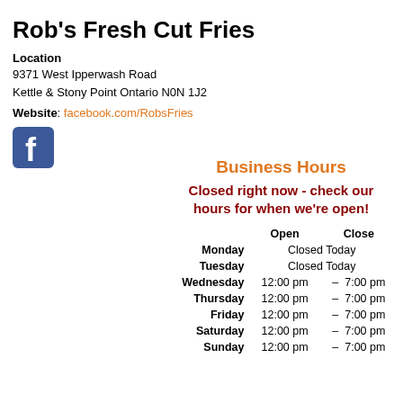Rob's Fresh Cut Fries
Location
9371 West Ipperwash Road
Kettle & Stony Point Ontario N0N 1J2
Website: facebook.com/RobsFries
[Figure (logo): Facebook logo icon — white lowercase 'f' on blue rounded-square background]
Business Hours
Closed right now - check our hours for when we're open!
|  | Open | Close |
| --- | --- | --- |
| Monday | Closed Today |  |
| Tuesday | Closed Today |  |
| Wednesday | 12:00 pm | 7:00 pm |
| Thursday | 12:00 pm | 7:00 pm |
| Friday | 12:00 pm | 7:00 pm |
| Saturday | 12:00 pm | 7:00 pm |
| Sunday | 12:00 pm | 7:00 pm |